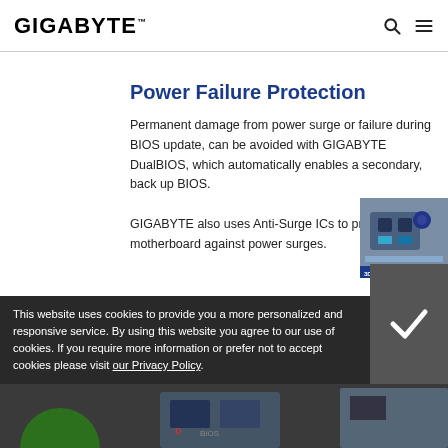GIGABYTE
Power Failure Protection
Permanent damage from power surge or failure during BIOS update, can be avoided with GIGABYTE DualBIOS, which automatically enables a secondary, back up BIOS.
GIGABYTE also uses Anti-Surge ICs to protect the motherboard against power surges.
[Figure (photo): Partial view of a GIGABYTE motherboard component with 3D INDUSTRY badge]
This website uses cookies to provide you a more personalized and responsive service. By using this website you agree to our use of cookies. If you require more information or prefer not to accept cookies please visit our Privacy Policy.